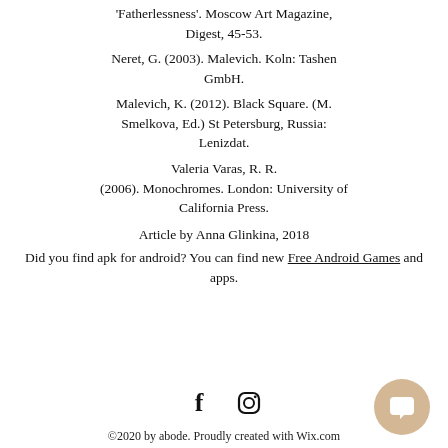'Fatherlessness'. Moscow Art Magazine, Digest, 45-53.
Neret, G. (2003). Malevich. Koln: Tashen GmbH.
Malevich, K. (2012). Black Square. (M. Smelkova, Ed.) St Petersburg, Russia: Lenizdat.
Valeria Varas, R. R. (2006). Monochromes. London: University of California Press.
Article by Anna Glinkina, 2018
Did you find apk for android? You can find new Free Android Games and apps.
[Figure (illustration): Social media icons: Facebook and Instagram]
©2020 by abode. Proudly created with Wix.com